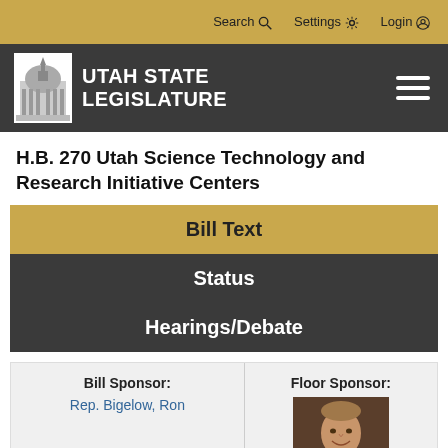Search  Settings  Login
[Figure (logo): Utah State Legislature logo with capitol building icon and text UTAH STATE LEGISLATURE]
H.B. 270 Utah Science Technology and Research Initiative Centers
Bill Text
Status
Hearings/Debate
Bill Sponsor:
Rep. Bigelow, Ron
Floor Sponsor:
[Figure (photo): Photo of floor sponsor, man in suit smiling]